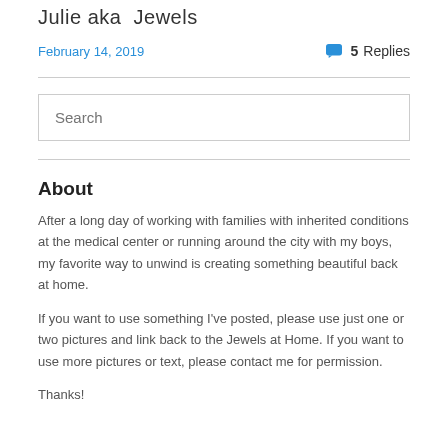Julie aka  Jewels
February 14, 2019    💬 5 Replies
[Figure (other): Search input box with placeholder text 'Search']
About
After a long day of working with families with inherited conditions at the medical center or running around the city with my boys, my favorite way to unwind is creating something beautiful back at home.
If you want to use something I've posted, please use just one or two pictures and link back to the Jewels at Home. If you want to use more pictures or text, please contact me for permission.
Thanks!